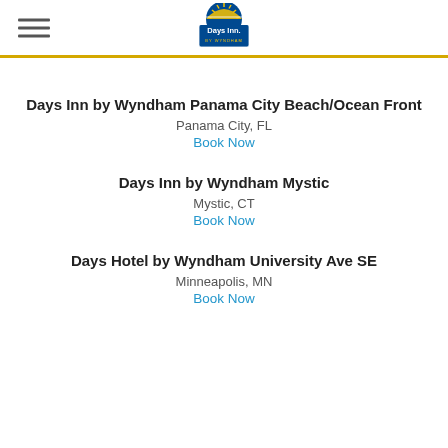Days Inn by Wyndham — header with logo and hamburger menu
Days Inn by Wyndham Panama City Beach/Ocean Front
Panama City, FL
Book Now
Days Inn by Wyndham Mystic
Mystic, CT
Book Now
Days Hotel by Wyndham University Ave SE
Minneapolis, MN
Book Now